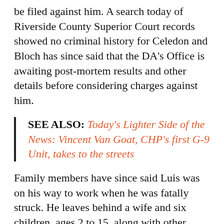be filed against him. A search today of Riverside County Superior Court records showed no criminal history for Celedon and Bloch has since said that the DA's Office is awaiting post-mortem results and other details before considering charges against him.
SEE ALSO: Today's Lighter Side of the News: Vincent Van Goat, CHP's first G-9 Unit, takes to the streets
Family members have since said Luis was on his way to work when he was fatally struck. He leaves behind a wife and six children, ages 2 to 15, along with other family and loved ones and his mother has created a GoFundMe account for anyone wishing to contribute funds needed for his burial costs and other expenses.
Menifee PD's investigation is active and ongoing and anyone with further information regarding this